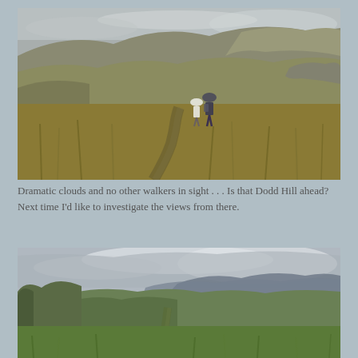[Figure (photo): Two hikers walking along a narrow path through tall golden-brown grass on a hillside, with dramatic overcast sky and rocky hilltops in the background. Green rocky outcrops visible to the right.]
Dramatic clouds and no other walkers in sight . . . Is that Dodd Hill ahead?  Next time I'd like to investigate the views from there.
[Figure (photo): Panoramic landscape view of rolling green hills with a narrow path leading into the distance, mountain ranges visible under a dramatic cloudy sky in the background.]